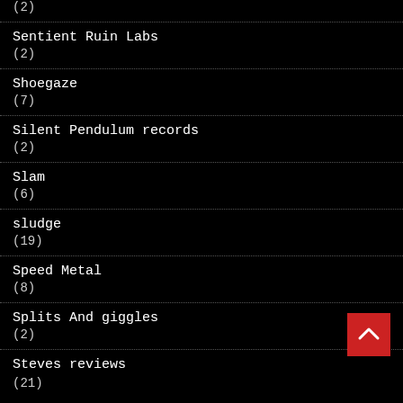(2)
Sentient Ruin Labs
(2)
Shoegaze
(7)
Silent Pendulum records
(2)
Slam
(6)
sludge
(19)
Speed Metal
(8)
Splits And giggles
(2)
Steves reviews
(21)